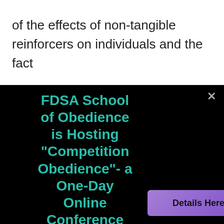of the effects of non-tangible reinforcers on individuals and the fact
[Figure (screenshot): A popup modal on a black background displaying text: 'FDSA School of Obedience is Hosting "Competition Obedience"- a One-Day Online Conference Sept 10, 2022!' in teal/cyan bold font, with a purple 'Details Here!' button and a gray close (×) button.]